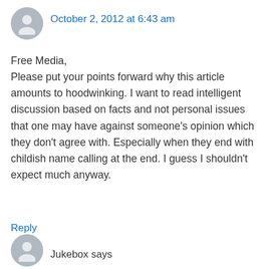[Figure (illustration): Gray circular avatar silhouette icon at top left]
October 2, 2012 at 6:43 am
Free Media,
Please put your points forward why this article amounts to hoodwinking. I want to read intelligent discussion based on facts and not personal issues that one may have against someone's opinion which they don't agree with. Especially when they end with childish name calling at the end. I guess I shouldn't expect much anyway.
Reply
[Figure (illustration): Gray circular avatar silhouette icon at bottom left]
Jukebox says